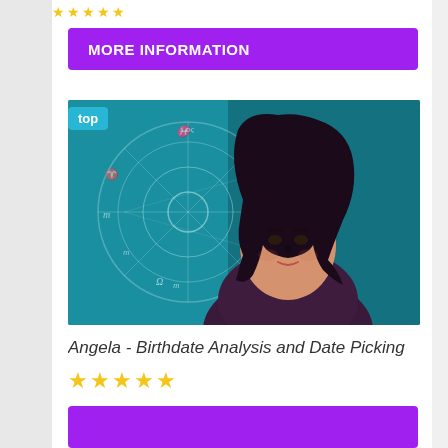★★★★★ (stars, partially cropped at top)
MORE INFORMATION
[Figure (photo): Profile photo of Angela, a woman with long dark hair, smiling, against a teal background with a zodiac/astrology wheel. A 'top' badge appears in the upper left corner of the image.]
Angela - Birthdate Analysis and Date Picking
★★★★★
MORE INFORMATION (button, partially cropped at bottom)